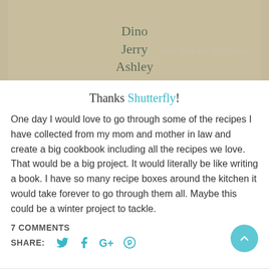[Figure (photo): Top portion of a cookbook or photo book page showing names 'Dino', 'Jerry', 'Ashley' and italic script text 'away from the office chair' on a beige/tan background]
Thanks Shutterfly!
One day I would love to go through some of the recipes I have collected from my mom and mother in law and create a big cookbook including all the recipes we love. That would be a big project. It would literally be like writing a book. I have so many recipe boxes around the kitchen it would take forever to go through them all. Maybe this could be a winter project to tackle.
7 COMMENTS
SHARE: